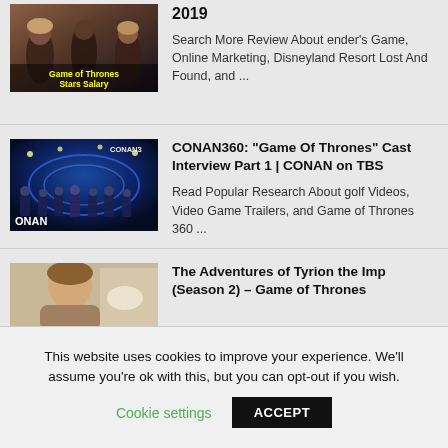[Figure (screenshot): Game of Thrones Stars Salary thumbnail with cast photo and yellow text]
2019
Search More Review About ender's Game, Online Marketing, Disneyland Resort Lost And Found, and ...
[Figure (screenshot): CONAN360 Game of Thrones cast interview thumbnail with ONAN logo]
CONAN360: "Game Of Thrones" Cast Interview Part 1 | CONAN on TBS
Read Popular Research About golf Videos, Video Game Trailers, and Game of Thrones 360 ...
[Figure (photo): Tyrion Lannister character photo from Game of Thrones Season 2]
The Adventures of Tyrion the Imp (Season 2) – Game of Thrones
This website uses cookies to improve your experience. We'll assume you're ok with this, but you can opt-out if you wish.